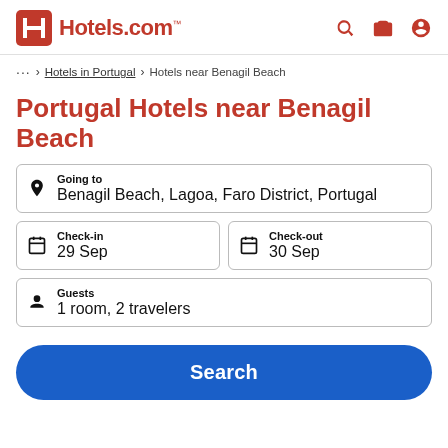[Figure (logo): Hotels.com logo with red H icon and Hotels.com text]
... > Hotels in Portugal > Hotels near Benagil Beach
Portugal Hotels near Benagil Beach
Going to
Benagil Beach, Lagoa, Faro District, Portugal
Check-in
29 Sep
Check-out
30 Sep
Guests
1 room, 2 travelers
Search